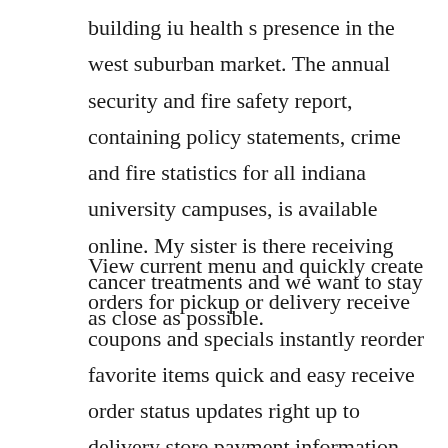building iu health s presence in the west suburban market. The annual security and fire safety report, containing policy statements, crime and fire statistics for all indiana university campuses, is available online. My sister is there receiving cancer treatments and we want to stay as close as possible.
View current menu and quickly create orders for pickup or delivery receive coupons and specials instantly reorder favorite items quick and easy receive order status updates right up to delivery store payment information for